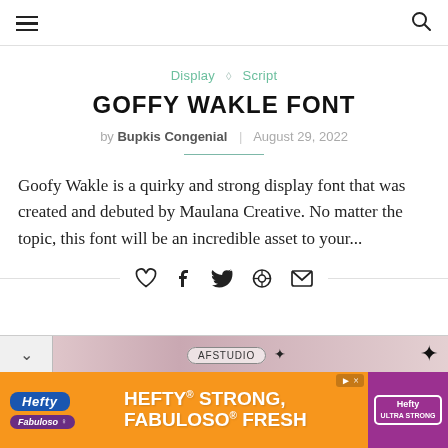navigation bar with hamburger menu and search icon
Display ◇ Script
GOFFY WAKLE FONT
by Bupkis Congenial | August 29, 2022
Goofy Wakle is a quirky and strong display font that was created and debuted by Maulana Creative. No matter the topic, this font will be an incredible asset to your...
[Figure (infographic): Social sharing icons row: heart, facebook, twitter, pinterest, email]
[Figure (screenshot): AFSTUDIO promotional bar with chevron and starburst]
[Figure (infographic): Hefty STRONG, FABULOSO FRESH advertisement banner with Hefty and Fabuloso logos]